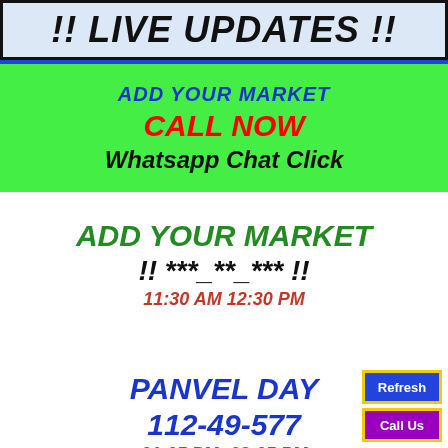!! LIVE UPDATES !!
ADD YOUR MARKET
CALL NOW
Whatsapp Chat Click
ADD YOUR MARKET
!! ***_**_*** !!
11:30 AM 12:30 PM
PANVEL DAY
112-49-577
01:05 PM -02:05 PM
TIME BAZAR